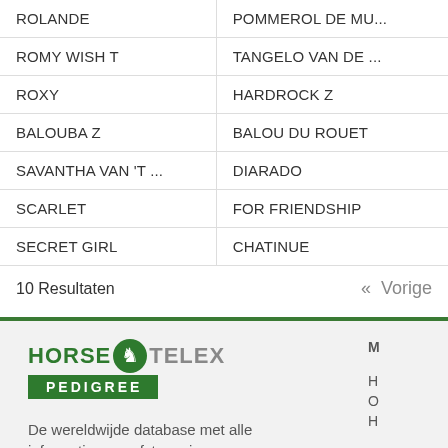| Name | Sire |
| --- | --- |
| ROLANDE | POMMEROL DE MU... |
| ROMY WISH T | TANGELO VAN DE ... |
| ROXY | HARDROCK Z |
| BALOUBA Z | BALOU DU ROUET |
| SAVANTHA VAN 'T ... | DIARADO |
| SCARLET | FOR FRIENDSHIP |
| SECRET GIRL | CHATINUE |
10 Resultaten
« Vorige
[Figure (logo): Horse Telex Pedigree logo — green horse icon between HORSE and TELEX text, with green PEDIGREE bar below]
De wereldwijde database met alle informatie over afstammingen en